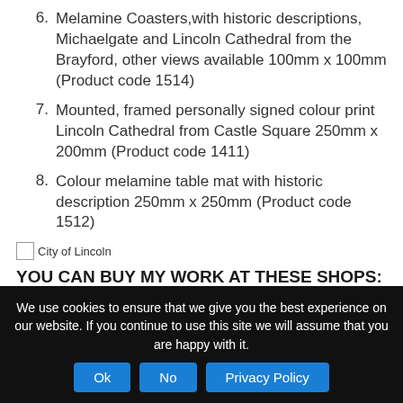6. Melamine Coasters,with historic descriptions, Michaelgate and Lincoln Cathedral from the Brayford, other views available 100mm x 100mm (Product code 1514)
7. Mounted, framed personally signed colour print Lincoln Cathedral from Castle Square 250mm x 200mm (Product code 1411)
8. Colour melamine table mat with historic description 250mm x 250mm (Product code 1512)
[Figure (photo): City of Lincoln image placeholder]
YOU CAN BUY MY WORK AT THESE SHOPS:
Other Lincoln views and products are also
We use cookies to ensure that we give you the best experience on our website. If you continue to use this site we will assume that you are happy with it.